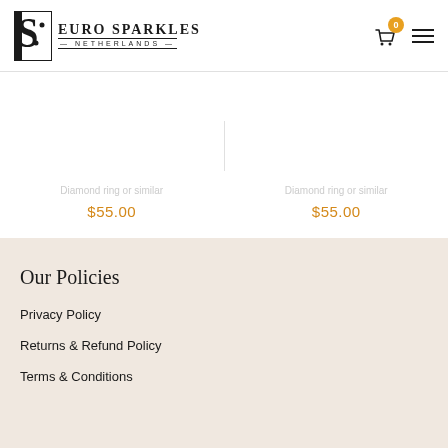Euro Sparkles Netherlands
$55.00
$55.00
Our Policies
Privacy Policy
Returns & Refund Policy
Terms & Conditions